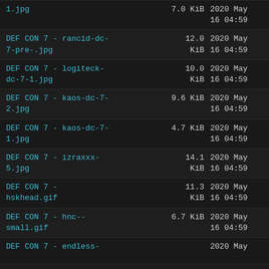1.jpg | 7.0 KiB | 2020 May 16 04:59
DEF CON 7 - rancid-dc-7-pre-.jpg | 12.0 KiB | 2020 May 16 04:59
DEF CON 7 - logiteck-dc-7-1.jpg | 10.0 KiB | 2020 May 16 04:59
DEF CON 7 - kaos-dc-7-2.jpg | 9.6 KiB | 2020 May 16 04:59
DEF CON 7 - kaos-dc-7-1.jpg | 4.7 KiB | 2020 May 16 04:59
DEF CON 7 - izraxxx-5.jpg | 14.1 KiB | 2020 May 16 04:59
DEF CON 7 - hskhead.gif | 11.3 KiB | 2020 May 16 04:59
DEF CON 7 - hnc--small.gif | 6.7 KiB | 2020 May 16 04:59
DEF CON 7 - endless- | 2020 May